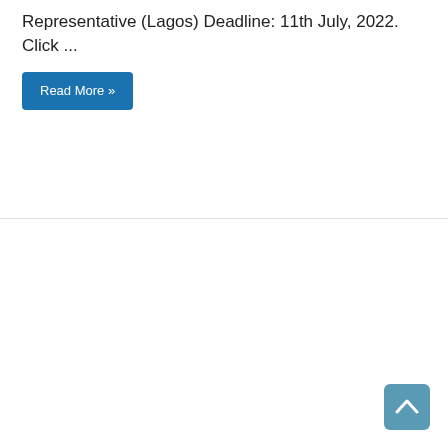Representative (Lagos) Deadline: 11th July, 2022. Click ...
Read More »
[Figure (other): Scroll to top button with upward chevron arrow]